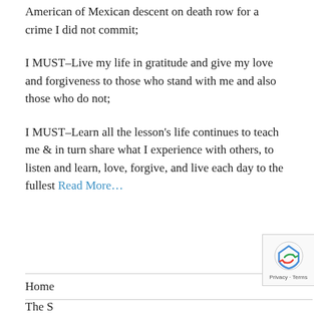American of Mexican descent on death row for a crime I did not commit;
I MUST–Live my life in gratitude and give my love and forgiveness to those who stand with me and also those who do not;
I MUST–Learn all the lesson's life continues to teach me & in turn share what I experience with others, to listen and learn, love, forgive, and live each day to the fullest Read More…
Home
The S…